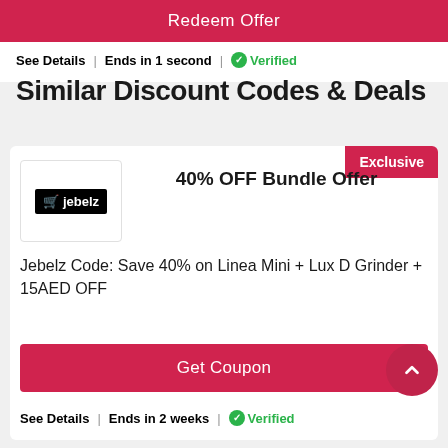Redeem Offer
See Details | Ends in 1 second | ✅Verified
Similar Discount Codes & Deals
Exclusive
40% OFF Bundle Offer
Jebelz Code: Save 40% on Linea Mini + Lux D Grinder + 15AED OFF
Get Coupon
See Details | Ends in 2 weeks | ✅Verified
Exclusive
Summer Sale